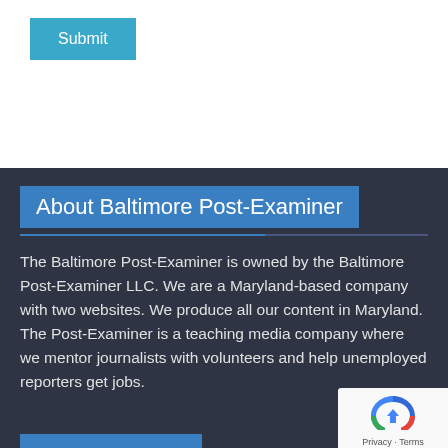Submit
About Baltimore Post-Examiner
The Baltimore Post-Examiner is owned by the Baltimore Post-Examiner LLC. We are a Maryland-based company with two websites. We produce all our content in Maryland. The Post-Examiner is a teaching media company where we mentor journalists with volunteers and help unemployed reporters get jobs.
Learn More